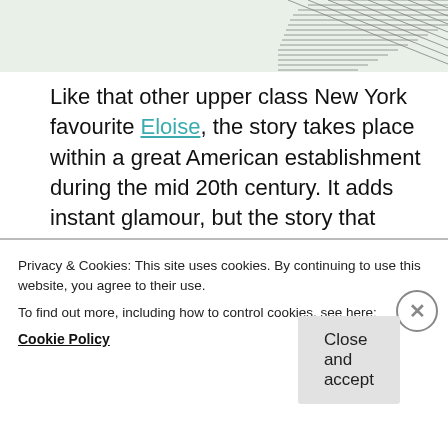[Figure (illustration): Partial illustration visible at top of page, appears to be a sketch or line drawing cropped at top edge]
Like that other upper class New York favourite Eloise, the story takes place within a great American establishment during the mid 20th century. It adds instant glamour, but the story that unfolds is a gentle attack on the commercialisation of the season. The Christmas Bower manages to be simultaneously challenging and heartwarming, and is something of a lost
Privacy & Cookies: This site uses cookies. By continuing to use this website, you agree to their use.
To find out more, including how to control cookies, see here:
Cookie Policy
Close and accept